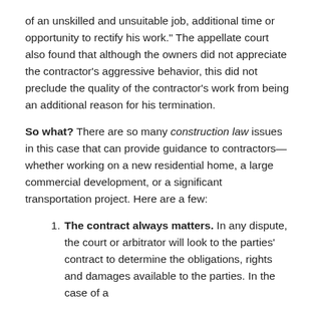of an unskilled and unsuitable job, additional time or opportunity to rectify his work." The appellate court also found that although the owners did not appreciate the contractor's aggressive behavior, this did not preclude the quality of the contractor's work from being an additional reason for his termination.
So what? There are so many construction law issues in this case that can provide guidance to contractors—whether working on a new residential home, a large commercial development, or a significant transportation project. Here are a few:
The contract always matters. In any dispute, the court or arbitrator will look to the parties' contract to determine the obligations, rights and damages available to the parties. In the case of a